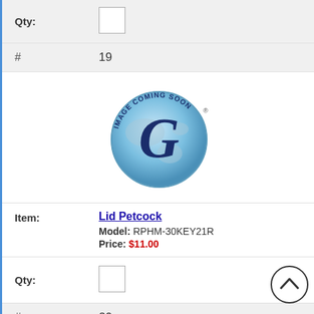Qty:
#  19
[Figure (logo): Image Coming Soon globe logo with stylized G]
Item: Lid Petcock  Model: RPHM-30KEY21R  Price: $11.00
Qty:
#  20
[Figure (photo): A pen-like tool with a black ball tip on a light gold/brass colored body]